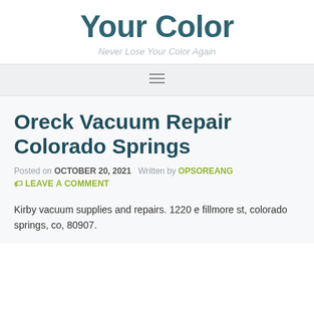Your Color
Never Lose Your Color Again
Oreck Vacuum Repair Colorado Springs
Posted on OCTOBER 20, 2021   Written by OPSOREANG
LEAVE A COMMENT
Kirby vacuum supplies and repairs. 1220 e fillmore st, colorado springs, co, 80907.